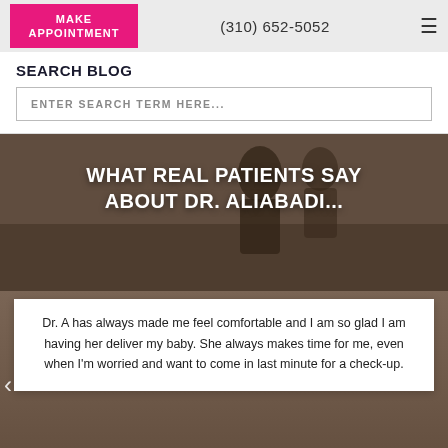MAKE APPOINTMENT | (310) 652-5052
SEARCH BLOG
ENTER SEARCH TERM HERE...
WHAT REAL PATIENTS SAY ABOUT DR. ALIABADI...
Dr. A has always made me feel comfortable and I am so glad I am having her deliver my baby. She always makes time for me, even when I'm worried and want to come in last minute for a check-up.